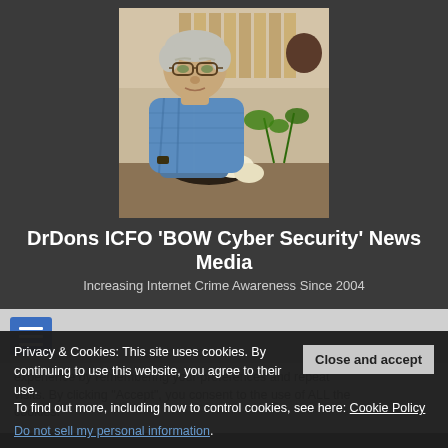[Figure (photo): Portrait photo of an older man with gray hair and glasses, wearing a blue plaid shirt, seated at a table with food and plants in the background]
DrDons ICFO 'BOW Cyber Security' News Media
Increasing Internet Crime Awareness Since 2004
[Figure (other): Navigation hamburger menu button (three horizontal lines) on a blue background]
Privacy & Cookies: This site uses cookies. By continuing to use this website, you agree to their use.
To find out more, including how to control cookies, see here: Cookie Policy
Close and accept
Do not sell my personal information.